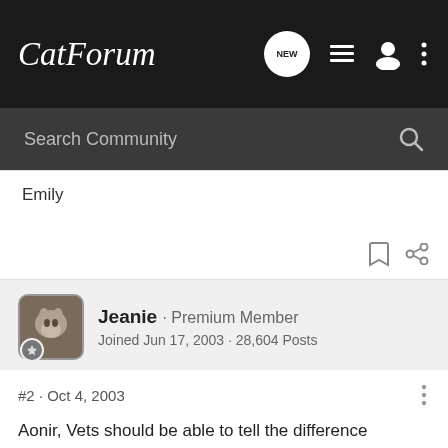CatForum
Search Community
Emily
Jeanie · Premium Member
Joined Jun 17, 2003 · 28,604 Posts
#2 · Oct 4, 2003
Aonir, Vets should be able to tell the difference between an innocent murmur (or functional murmur) by just listening. An innocent murmur disappears as the kitten grows. A dangerous murmur can cut down life expectancy. Perhaps your vet thinks